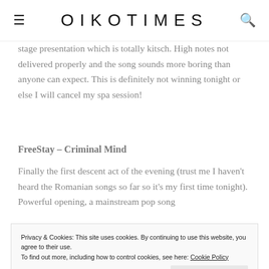OIKOTIMES
stage presentation which is totally kitsch. High notes not delivered properly and the song sounds more boring than anyone can expect. This is definitely not winning tonight or else I will cancel my spa session!
FreeStay – Criminal Mind
Finally the first descent act of the evening (trust me I haven't heard the Romanian songs so far so it's my first time tonight). Powerful opening, a mainstream pop song
Privacy & Cookies: This site uses cookies. By continuing to use this website, you agree to their use.
To find out more, including how to control cookies, see here: Cookie Policy
Close and accept
I find this occasionally about Women & Ro...especially the